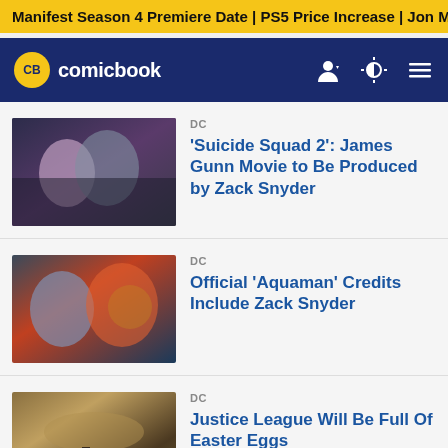Manifest Season 4 Premiere Date | PS5 Price Increase | Jon M
CB comicbook
DC
'Suicide Squad 2': James Gunn Movie to Be Produced by Zack Snyder
DC
Official 'Aquaman' Credits Include Zack Snyder
DC
Justice League Will Be Full Of Easter Eggs